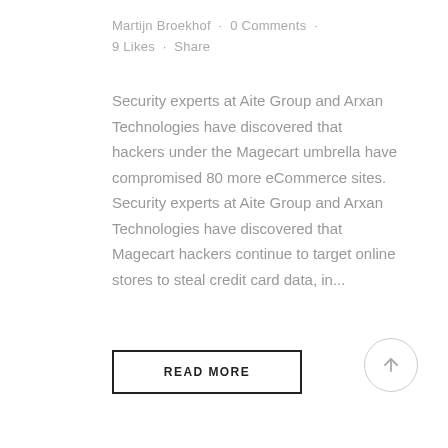Martijn Broekhof · 0 Comments · 9 Likes · Share
Security experts at Aite Group and Arxan Technologies have discovered that hackers under the Magecart umbrella have compromised 80 more eCommerce sites. Security experts at Aite Group and Arxan Technologies have discovered that Magecart hackers continue to target online stores to steal credit card data, in...